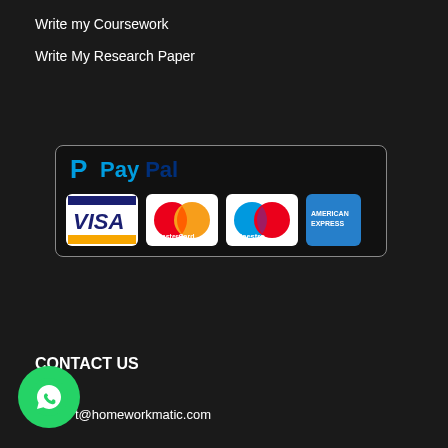Write my Coursework
Write My Research Paper
[Figure (logo): PayPal payment acceptance logo with VISA, MasterCard, Maestro, and American Express card logos inside a rounded rectangle border]
CONTACT US
Email:
t@homeworkmatic.com
[Figure (logo): WhatsApp green circle button icon]